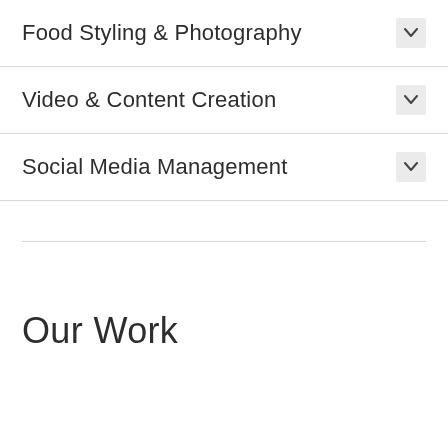Food Styling & Photography
Video & Content Creation
Social Media Management
Our Work
Crossfit